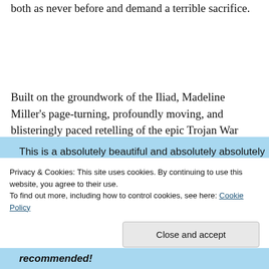both as never before and demand a terrible sacrifice.
Built on the groundwork of the Iliad, Madeline Miller's page-turning, profoundly moving, and blisteringly paced retelling of the epic Trojan War marks the launch of a dazzling career.
Privacy & Cookies: This site uses cookies. By continuing to use this website, you agree to their use.
To find out more, including how to control cookies, see here: Cookie Policy
Close and accept
recommended!